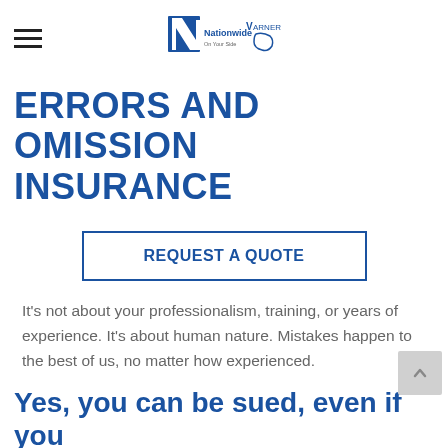Nationwide / Varner Insurance logo and navigation
ERRORS AND OMISSION INSURANCE
REQUEST A QUOTE
It's not about your professionalism, training, or years of experience. It's about human nature. Mistakes happen to the best of us, no matter how experienced.
Yes, you can be sued, even if you